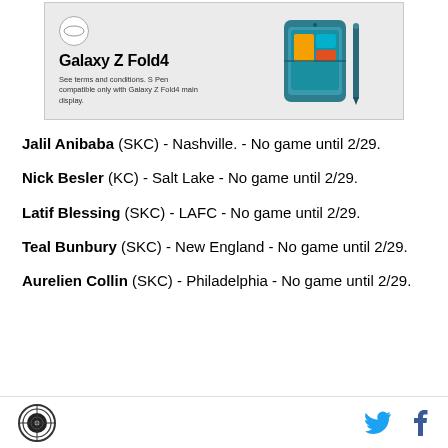[Figure (screenshot): Samsung Galaxy Z Fold4 advertisement banner showing a teal folded phone with S Pen, bold headline 'Galaxy Z Fold4', and small text 'See terms and conditions. S Pen compatible only with Galaxy Z Fold4 main display.']
Jalil Anibaba (SKC) - Nashville. - No game until 2/29.
Nick Besler (KC) - Salt Lake - No game until 2/29.
Latif Blessing (SKC) - LAFC - No game until 2/29.
Teal Bunbury (SKC) - New England - No game until 2/29.
Aurelien Collin (SKC) - Philadelphia - No game until 2/29.
SB Nation logo | Twitter icon | Facebook icon